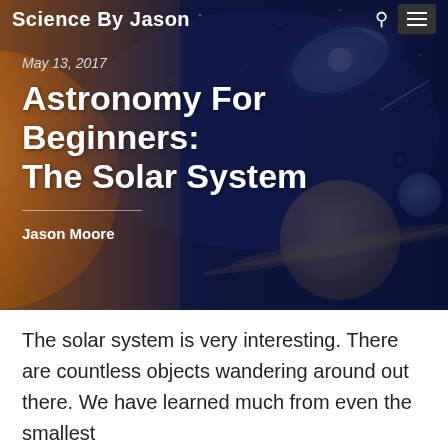Science By Jason
May 13, 2017
Astronomy For Beginners: The Solar System
Jason Moore
[Figure (illustration): Space background image showing planets, a spiral galaxy, stars and cosmic scenery with orange/yellow planet on left and blue nebula on right]
The solar system is very interesting. There are countless objects wandering around out there. We have learned much from even the smallest